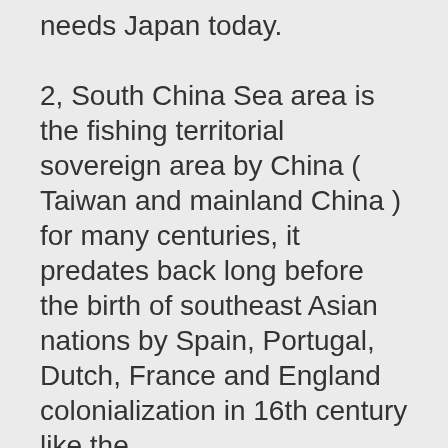needs Japan today.

2, South China Sea area is the fishing territorial sovereign area by China ( Taiwan and mainland China ) for many centuries, it predates back long before the birth of southeast Asian nations by Spain, Portugal, Dutch, France and England colonialization in 16th century like the